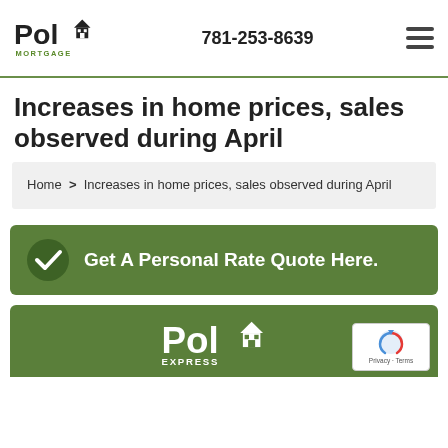Poli Mortgage | 781-253-8639
Increases in home prices, sales observed during April
Home > Increases in home prices, sales observed during April
Get A Personal Rate Quote Here.
[Figure (logo): Poli Express logo in white on green background]